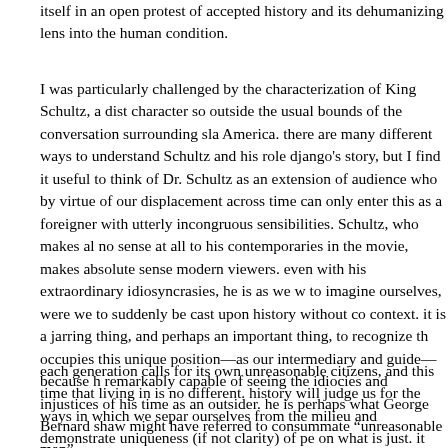itself in an open protest of accepted history and its dehumanizing lens into the human condition.
I was particularly challenged by the characterization of King Schultz, a distinct character so outside the usual bounds of the conversation surrounding slavery in America. there are many different ways to understand Schultz and his role in django's story, but I find it useful to think of Dr. Schultz as an extension of ourselves, an audience who by virtue of our displacement across time can only enter this world as a foreigner with utterly incongruous sensibilities. Schultz, who makes absolutely no sense at all to his contemporaries in the movie, makes absolute sense to modern viewers. even with his extraordinary idiosyncrasies, he is as we would like to imagine ourselves, were we to suddenly be cast upon history without context. it is a jarring thing, and perhaps an important thing, to recognize that Schultz occupies this unique position—as our intermediary and guide—because he is remarkably capable of seeing the idiocies and injustices of his time as an outsider. he is perhaps what George Bernard shaw might have referred to as the consummate "unreasonable man".
each generation calls for its own unreasonable citizens, and this time that we are living in is no different. history will judge us for the ways in which we separate ourselves from the milieu and demonstrate uniqueness (if not clarity) of perspective on what is just. it makes me wonder what future tarantino movie could be made of a king schultz who is suddenly thrust upon our society in these particular times. would our beloved dentist still make a career change to pursue bounty hunting? or would he find another equally ludicrous way to upend the powerful and undermine...